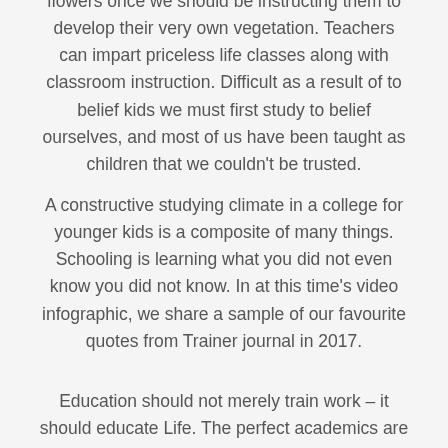flowers once we should be instructing them to develop their very own vegetation. Teachers can impart priceless life classes along with classroom instruction. Difficult as a result of to belief kids we must first study to belief ourselves, and most of us have been taught as children that we couldn't be trusted.
A constructive studying climate in a college for younger kids is a composite of many things. Schooling is learning what you did not even know you did not know. In at this time's video infographic, we share a sample of our favourite quotes from Trainer journal in 2017.
Education should not merely train work – it should educate Life. The perfect academics are those